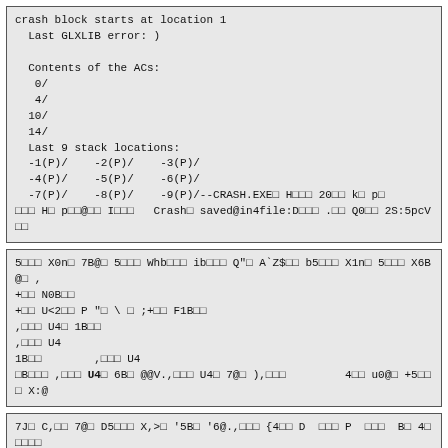crash block starts at location 1
  Last GLXLIB error: )

  Contents of the ACs:
   0/
   4/
  10/
  14/
  Last 9 stack locations:
  -1(P)/    -2(P)/    -3(P)/
  -4(P)/    -5(P)/    -6(P)/
  -7(P)/    -8(P)/    -9(P)/--CRASH.EXEÐ HÐÐÐ 20ÐÐ kÐ pÐ
ÐÐÐ HÐ pÐÐ@ÐÐ IÐÐÐ   CrashÐ saved@in4file:DÐÐÐ .ÐÐ Q0ÐÐ 2S:5pcVÐÐ
5ÐÐÐ X0nÐ 7B@Ð 5ÐÐÐ WhbÐÐÐ ibÐÐÐ Q"Ð A`Z$ÐÐ b5ÐÐÐ X1nÐ 5ÐÐÐ X6B@Ð ,
+ÐÐ N0BÐÐ
+ÐÐ U<2ÐÐ P "Ð \ Ð ;+ÐÐ F1BÐÐ
,ÐÐÐ U4Ð 1BÐÐ
,ÐÐÐ U4
1BÐÐ        ,ÐÐÐ U4
ÐBÐÐÐ ,ÐÐÐ U4Ð 6BÐ @@V.,ÐÐÐ U4Ð 7@Ð ),ÐÐÐ         4ÐÐ u0@Ð +5ÐÐÐ X:@
7JÐ C,ÐÐ 7@Ð D5ÐÐÐ X,>Ð '5BÐ '6@.,ÐÐÐ {4ÐÐ D  ÐÐÐ P  ÐÐÐ  BÐ 4ÐÐÐÐÐ
 BÐ 3ÐÐÐÐ #ÐÐ %,ÐÐÐ              4ÐÐ (5ÐÐÐ X,ÐÐÐ %5ÐÐÐ )@@Ð .*"Ð 0@@Ð ,Ð
4BÐ 3  DÐ 4ÐÐÐÐ +ÐÐ %+ÐÐ ,5ÐÐ 41ÐÐ 4+ÐÐ [,ÐÐÐ %,ÐÐ ,$ÐÐ YabÐÐÐ ,$ÐÐ/